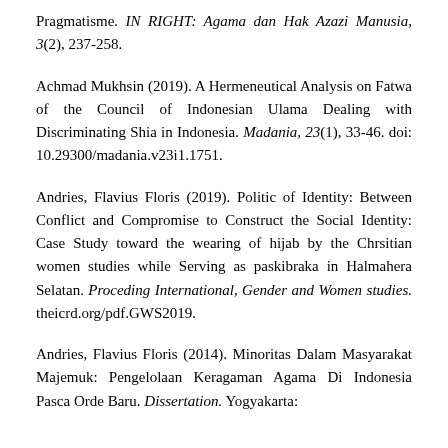Pragmatisme. IN RIGHT: Agama dan Hak Azazi Manusia, 3(2), 237-258.
Achmad Mukhsin (2019). A Hermeneutical Analysis on Fatwa of the Council of Indonesian Ulama Dealing with Discriminating Shia in Indonesia. Madania, 23(1), 33-46. doi: 10.29300/madania.v23i1.1751.
Andries, Flavius Floris (2019). Politic of Identity: Between Conflict and Compromise to Construct the Social Identity: Case Study toward the wearing of hijab by the Chrsitian women studies while Serving as paskibraka in Halmahera Selatan. Proceding International, Gender and Women studies. theicrd.org/pdf.GWS2019.
Andries, Flavius Floris (2014). Minoritas Dalam Masyarakat Majemuk: Pengelolaan Keragaman Agama Di Indonesia Pasca Orde Baru. Dissertation. Yogyakarta: